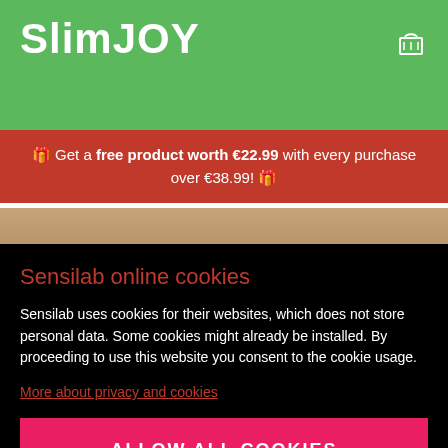SlimJOY
🎁 Get a free product worth €22.99 with every purchase over €38.99! 🎁
[Figure (photo): Product image strip showing a wooden or tan-colored surface]
Sensilab online cookies
Sensilab uses cookies for their websites, which does not store personal data. Some cookies might already be installed. By proceeding to use this website you consent to the cookie usage.
More about privacy and cookies
ALLOW ALL COOKIES